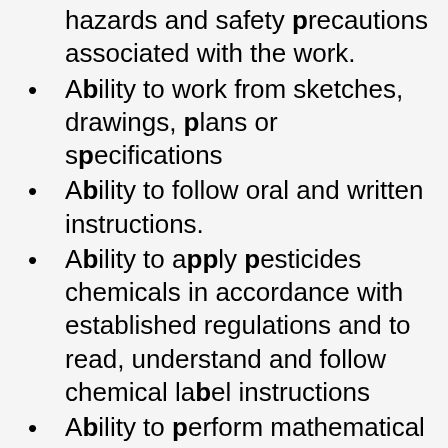hazards and safety precautions associated with the work.
Ability to work from sketches, drawings, plans or specifications
Ability to follow oral and written instructions.
Ability to apply pesticides chemicals in accordance with established regulations and to read, understand and follow chemical label instructions
Ability to perform mathematical calculations to estimate materials and time needed to complete a task
Skilled in the use of tools and equipment necessary to perform tasks (includes